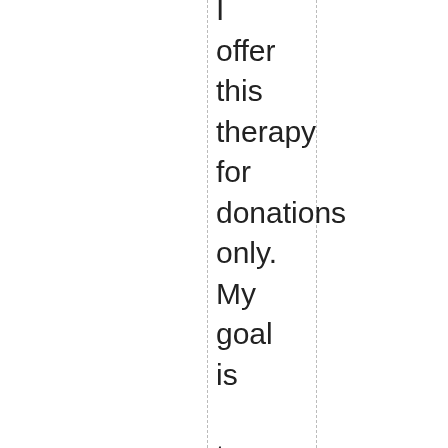I offer this therapy for donations only. My goal is to help people heal. If I was doing this for the money